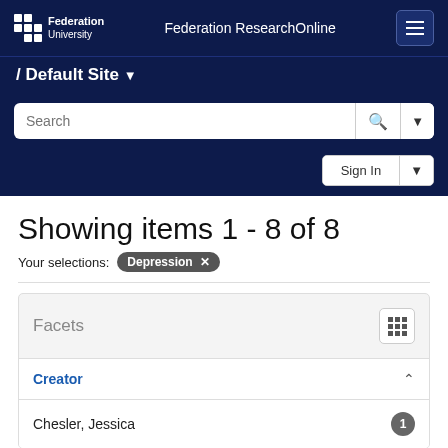Federation University — Federation ResearchOnline
/ Default Site
Search
Sign In
Showing items 1 - 8 of 8
Your selections: Depression ×
Facets
Creator
Chesler, Jessica  1